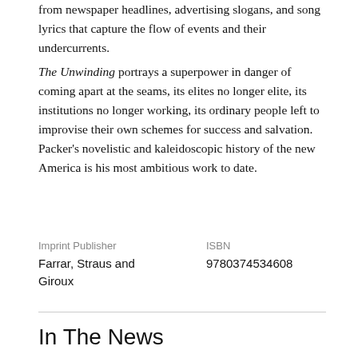from newspaper headlines, advertising slogans, and song lyrics that capture the flow of events and their undercurrents.
The Unwinding portrays a superpower in danger of coming apart at the seams, its elites no longer elite, its institutions no longer working, its ordinary people left to improvise their own schemes for success and salvation. Packer's novelistic and kaleidoscopic history of the new America is his most ambitious work to date.
| Imprint Publisher | ISBN |
| --- | --- |
| Farrar, Straus and Giroux | 9780374534608 |
In The News
“[The Unwinding] hums – with sorrow, with outrage and with compassion…Packer’s gifts are Steinbeckian in the best sense of that term…[Packer has] written something close to a nonfiction masterpiece.” – Dwight Garner, The New York Times